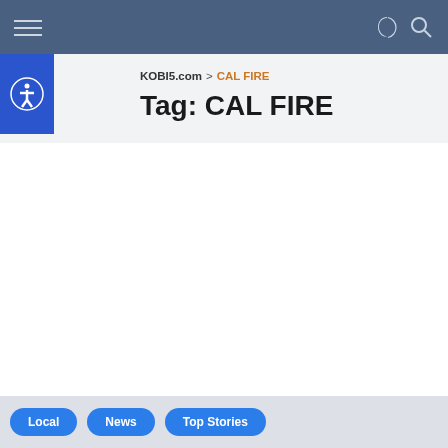KOBI5.com navigation bar with hamburger menu, moon/night mode icon, and search icon
KOBI5.com > CAL FIRE
Tag: CAL FIRE
Local | News | Top Stories